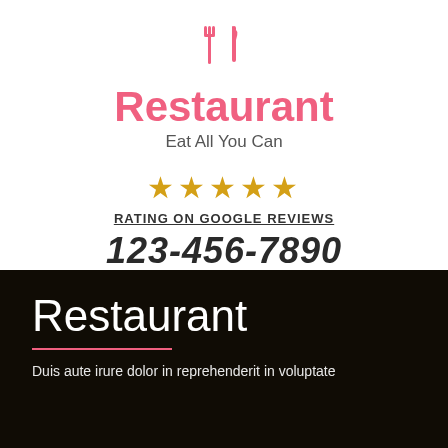[Figure (illustration): Pink fork and knife icon]
Restaurant
Eat All You Can
[Figure (illustration): Five gold stars rating]
RATING ON GOOGLE REVIEWS
123-456-7890
CALL FOR FREE CONSULTATION
Restaurant
Duis aute irure dolor in reprehenderit in voluptate